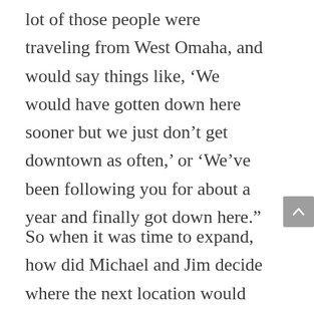lot of those people were traveling from West Omaha, and would say things like, ‘We would have gotten down here sooner but we just don’t get downtown as often,’ or ‘We’ve been following you for about a year and finally got down here.”
So when it was time to expand, how did Michael and Jim decide where the next location would be? They took it to Facebook and let the people decide. They offered three zip codes and,